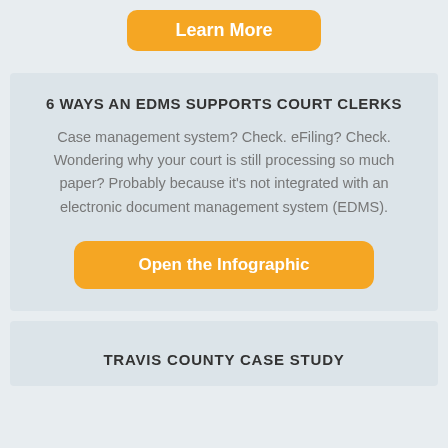[Figure (other): Orange rounded button labeled 'Learn More']
6 WAYS AN EDMS SUPPORTS COURT CLERKS
Case management system? Check. eFiling? Check. Wondering why your court is still processing so much paper? Probably because it's not integrated with an electronic document management system (EDMS).
[Figure (other): Orange rounded button labeled 'Open the Infographic']
TRAVIS COUNTY CASE STUDY